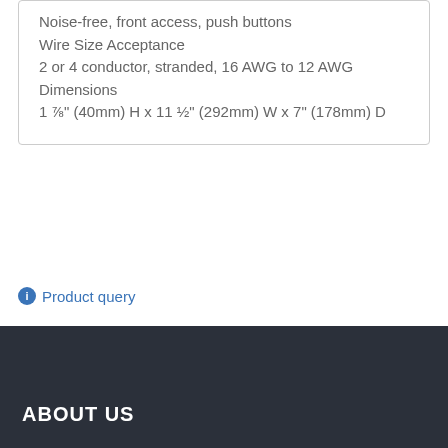Noise-free, front access, push buttons
Wire Size Acceptance
2 or 4 conductor, stranded, 16 AWG to 12 AWG
Dimensions
1 ⅞" (40mm) H x 11 ½" (292mm) W x 7" (178mm) D
Product query
ABOUT US